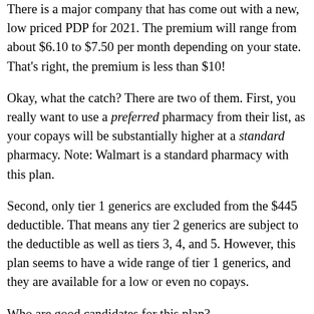There is a major company that has come out with a new, low priced PDP for 2021. The premium will range from about $6.10 to $7.50 per month depending on your state. That’s right, the premium is less than $10!
Okay, what the catch? There are two of them. First, you really want to use a preferred pharmacy from their list, as your copays will be substantially higher at a standard pharmacy. Note: Walmart is a standard pharmacy with this plan.
Second, only tier 1 generics are excluded from the $445 deductible. That means any tier 2 generics are subject to the deductible as well as tiers 3, 4, and 5. However, this plan seems to have a wide range of tier 1 generics, and they are available for a low or even no copays.
Who are good candidates for this plan?
1) Those who take no prescriptions. The name of the